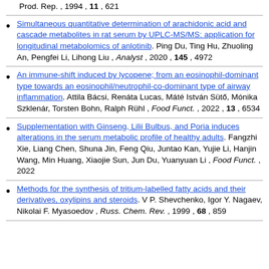Prod. Rep. , 1994 , 11 , 621
Simultaneous quantitative determination of arachidonic acid and cascade metabolites in rat serum by UPLC-MS/MS: application for longitudinal metabolomics of anlotinib. Ping Du, Ting Hu, Zhuoling An, Pengfei Li, Lihong Liu , Analyst , 2020 , 145 , 4972
An immune-shift induced by lycopene; from an eosinophil-dominant type towards an eosinophil/neutrophil-co-dominant type of airway inflammation. Attila Bácsi, Renáta Lucas, Máté István Sütő, Mónika Szklenár, Torsten Bohn, Ralph Rühl , Food Funct. , 2022 , 13 , 6534
Supplementation with Ginseng, Lilii Bulbus, and Poria induces alterations in the serum metabolic profile of healthy adults. Fangzhi Xie, Liang Chen, Shuna Jin, Feng Qiu, Juntao Kan, Yujie Li, Hanjin Wang, Min Huang, Xiaojie Sun, Jun Du, Yuanyuan Li , Food Funct. , 2022
Methods for the synthesis of tritium-labelled fatty acids and their derivatives, oxylipins and steroids. V P. Shevchenko, Igor Y. Nagaev, Nikolai F. Myasoedov , Russ. Chem. Rev. , 1999 , 68 , 859